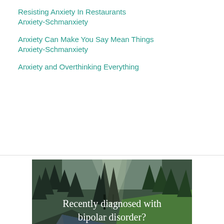Resisting Anxiety In Restaurants
Anxiety-Schmanxiety
Anxiety Can Make You Say Mean Things
Anxiety-Schmanxiety
Anxiety and Overthinking Everything
[Figure (photo): Forest scene with river and trees, overlaid with text: 'Recently diagnosed with bipolar disorder? DOWNLOAD OUR FREE EBOOK NOW.']
advertisement